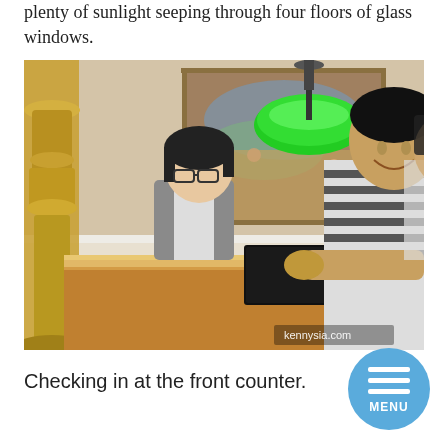plenty of sunlight seeping through four floors of glass windows.
[Figure (photo): A person checking in at a hotel front counter with a staff member in a grey vest. A green pendant lamp and a colorful mural are visible in the background. A gold lamp stand is on the left. Watermark reads kennysia.com.]
Checking in at the front counter.